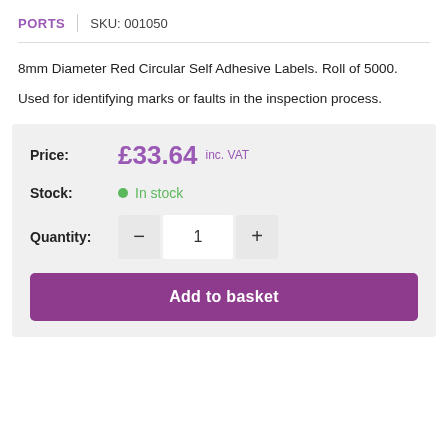PORTS | SKU: 001050
8mm Diameter Red Circular Self Adhesive Labels. Roll of 5000.
Used for identifying marks or faults in the inspection process.
Price: £33.64 inc. VAT
Stock: In stock
Quantity: 1
Add to basket